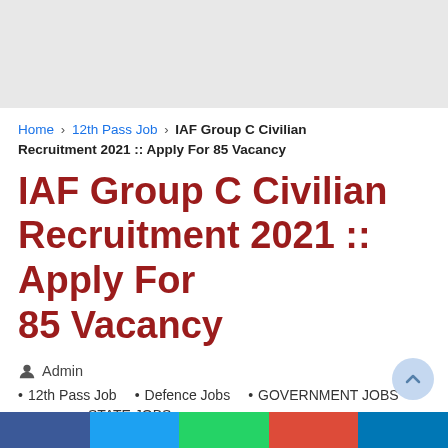Home › 12th Pass Job › IAF Group C Civilian Recruitment 2021 :: Apply For 85 Vacancy
IAF Group C Civilian Recruitment 2021 :: Apply For 85 Vacancy
Admin
12th Pass Job
Defence Jobs
GOVERNMENT JOBS
STATE JOBS
July 24, 2021   1